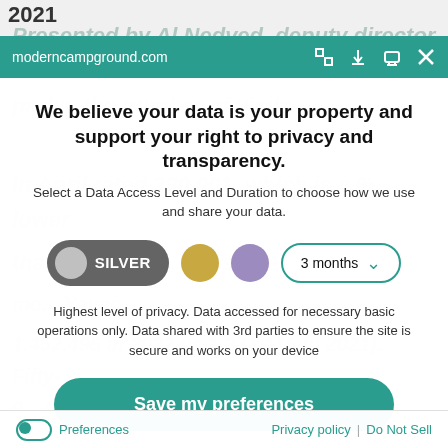2021
moderncampground.com
We believe your data is your property and support your right to privacy and transparency.
Select a Data Access Level and Duration to choose how we use and share your data.
SILVER | 3 months
Highest level of privacy. Data accessed for necessary basic operations only. Data shared with 3rd parties to ensure the site is secure and works on your device
Save my preferences
Preferences | Privacy policy | Do Not Sell